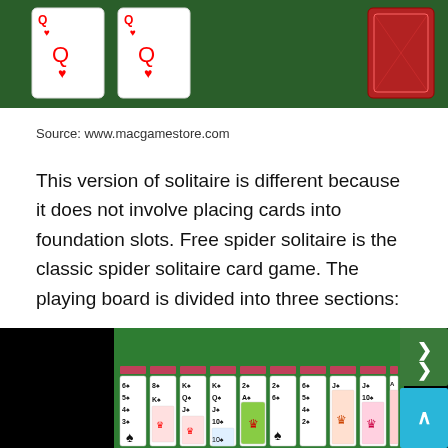[Figure (screenshot): Screenshot of a solitaire card game showing playing cards on a green felt background with two Queens of Hearts and a face-down red card visible]
Source: www.macgamestore.com
This version of solitaire is different because it does not involve placing cards into foundation slots. Free spider solitaire is the classic spider solitaire card game. The playing board is divided into three sections:
[Figure (screenshot): Screenshot of spider solitaire game board showing columns of playing cards on green background with navigation buttons]